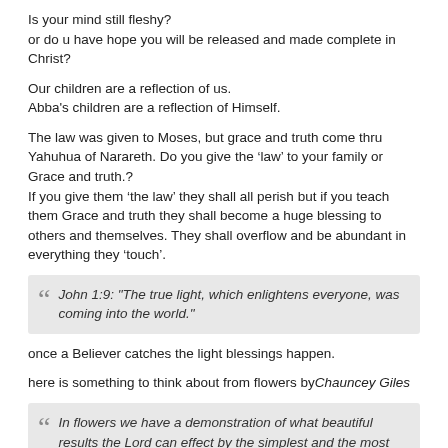Is your mind still fleshy?
or do u have hope you will be released and made complete in Christ?
Our children are a reflection of us.
Abba's children are a reflection of Himself.
The law was given to Moses, but grace and truth come thru Yahuhua of Narareth. Do you give the 'law' to your family or Grace and truth.?
If you give them 'the law' they shall all perish but if you teach them Grace and truth they shall become a huge blessing to others and themselves. They shall overflow and be abundant in everything they 'touch'.
John 1:9: "The true light, which enlightens everyone, was coming into the world."
once a Believer catches the light blessings happen.
here is something to think about from flowers by Chauncey Giles
In flowers we have a demonstration of what beautiful results the Lord can effect by the simplest and the most apparently unpromising means.

Every flower is a miracle wrought before our eyes.

And it is wrought for the express purpose of teaching us